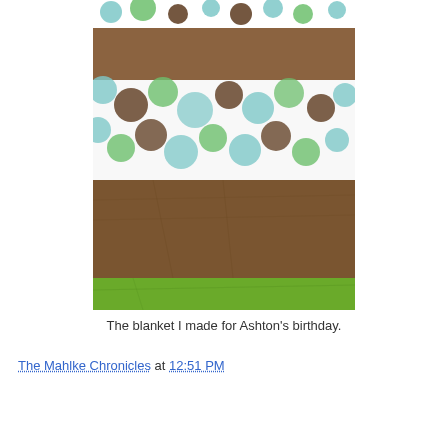[Figure (photo): A close-up photograph of a handmade blanket with alternating horizontal stripes: brown textured fabric strips alternating with a polka-dot fabric featuring blue, green, and brown circles on a white background, and a green fabric strip at the bottom.]
The blanket I made for Ashton's birthday.
The Mahlke Chronicles at 12:51 PM
Share